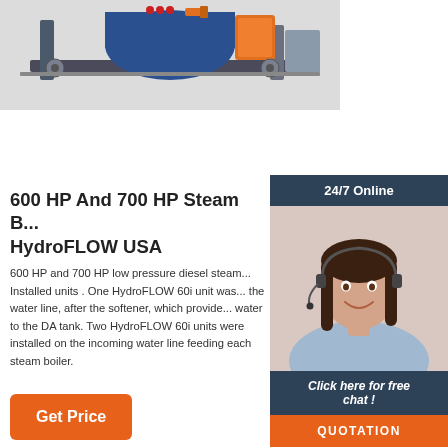[Figure (photo): Industrial steam boiler machine with blue/orange components on a rail system]
600 HP And 700 HP Steam B... HydroFLOW USA
[Figure (photo): Customer service agent - woman with headset smiling, 24/7 Online badge, Click here for free chat, QUOTATION button]
600 HP and 700 HP low pressure diesel steam... Installed units . One HydroFLOW 60i unit was... the water line, after the softener, which provide... water to the DA tank. Two HydroFLOW 60i units were installed on the incoming water line feeding each steam boiler.
Get Price